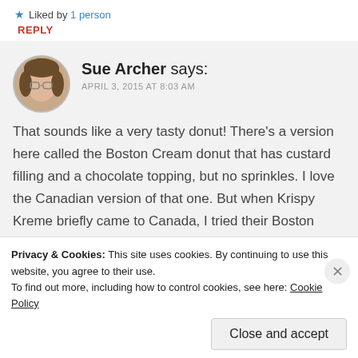★ Liked by 1 person
REPLY
Sue Archer says: APRIL 3, 2015 AT 8:03 AM
That sounds like a very tasty donut! There's a version here called the Boston Cream donut that has custard filling and a chocolate topping, but no sprinkles. I love the Canadian version of that one. But when Krispy Kreme briefly came to Canada, I tried their Boston Creme and
Privacy & Cookies: This site uses cookies. By continuing to use this website, you agree to their use.
To find out more, including how to control cookies, see here: Cookie Policy
Close and accept